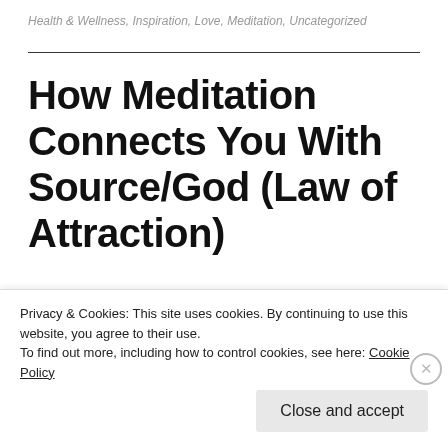Health & Wellness, Inspiration, Love, Meditation, Uncategorized
How Meditation Connects You With Source/God (Law of Attraction)
How does meditation connect us to our Source? To our Inner Being? I wanted to explore the
Privacy & Cookies: This site uses cookies. By continuing to use this website, you agree to their use. To find out more, including how to control cookies, see here: Cookie Policy